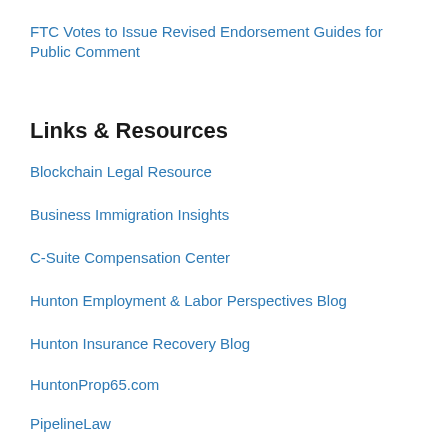FTC Votes to Issue Revised Endorsement Guides for Public Comment
Links & Resources
Blockchain Legal Resource
Business Immigration Insights
C-Suite Compensation Center
Hunton Employment & Labor Perspectives Blog
Hunton Insurance Recovery Blog
HuntonProp65.com
PipelineLaw
Privacy and Information Security Law Blog